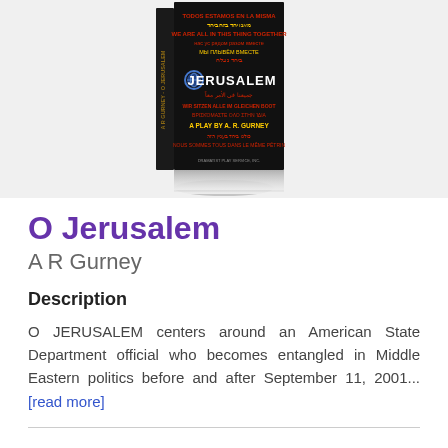[Figure (photo): Book cover of 'O Jerusalem: A Play by A. R. Gurney', showing a black cover with multilingual text in red, yellow, and white, with a globe icon. The book is shown in a 3D perspective with a reflection below.]
O Jerusalem
A R Gurney
Description
O JERUSALEM centers around an American State Department official who becomes entangled in Middle Eastern politics before and after September 11, 2001... [read more]